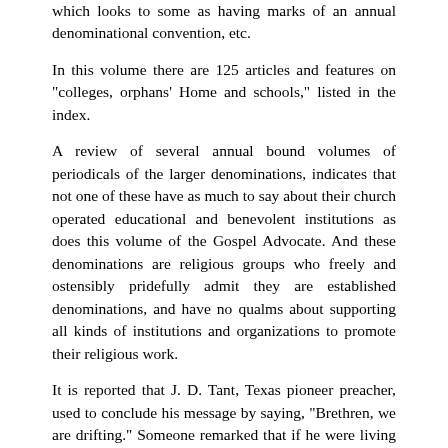which looks to some as having marks of an annual denominational convention, etc.
In this volume there are 125 articles and features on "colleges, orphans' Home and schools," listed in the index.
A review of several annual bound volumes of periodicals of the larger denominations, indicates that not one of these have as much to say about their church operated educational and benevolent institutions as does this volume of the Gospel Advocate. And these denominations are religious groups who freely and ostensibly pridefully admit they are established denominations, and have no qualms about supporting all kinds of institutions and organizations to promote their religious work.
It is reported that J. D. Tant, Texas pioneer preacher, used to conclude his message by saying, "Brethren, we are drifting." Someone remarked that if he were living today he would find this phrase obsolete. He would have to say, "Brethren, we have drifted!"